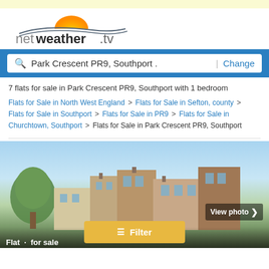[Figure (logo): netweather.tv logo with sun and swoosh graphic]
Park Crescent PR9, Southport . | Change
7 flats for sale in Park Crescent PR9, Southport with 1 bedroom
Flats for Sale in North West England > Flats for Sale in Sefton, county > Flats for Sale in Southport > Flats for Sale in PR9 > Flats for Sale in Churchtown, Southport > Flats for Sale in Park Crescent PR9, Southport
[Figure (photo): Photograph of residential buildings/flats for sale on Park Crescent, Southport with trees in foreground. A yellow Filter button and View photo button are overlaid.]
Flat · for sale